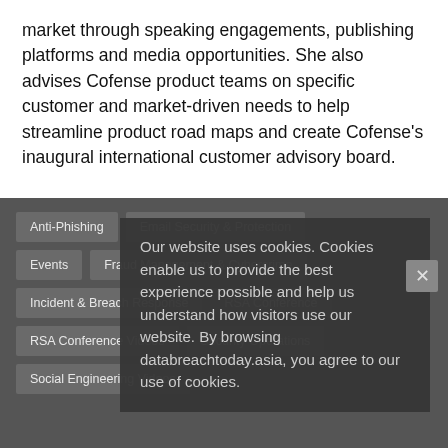market through speaking engagements, publishing platforms and media opportunities. She also advises Cofense product teams on specific customer and market-driven needs to help streamline product road maps and create Cofense's inaugural international customer advisory board.
Anti-Phishing
Email Security & Protection
Events
Fraud Management & Cybercrime
Incident & Breach Response
RSA Conference
RSA Conference Videos
Security Operations
Social Engineering Videos
Our website uses cookies. Cookies enable us to provide the best experience possible and help us understand how visitors use our website. By browsing databreachtoday.asia, you agree to our use of cookies.